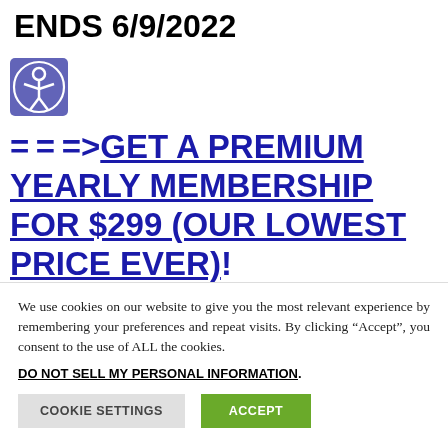ENDS 6/9/2022
[Figure (illustration): Accessibility icon: white person with arms outstretched in circle on blue/purple square background]
===>GET A PREMIUM YEARLY MEMBERSHIP FOR $299 (OUR LOWEST PRICE EVER)!
We use cookies on our website to give you the most relevant experience by remembering your preferences and repeat visits. By clicking “Accept”, you consent to the use of ALL the cookies.
DO NOT SELL MY PERSONAL INFORMATION.
COOKIE SETTINGS   ACCEPT